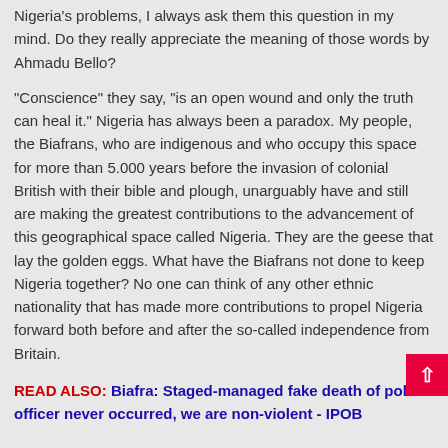Nigeria's problems, I always ask them this question in my mind. Do they really appreciate the meaning of those words by Ahmadu Bello?
“Conscience” they say, “is an open wound and only the truth can heal it.” Nigeria has always been a paradox. My people, the Biafrans, who are indigenous and who occupy this space for more than 5.000 years before the invasion of colonial British with their bible and plough, unarguably have and still are making the greatest contributions to the advancement of this geographical space called Nigeria. They are the geese that lay the golden eggs. What have the Biafrans not done to keep Nigeria together? No one can think of any other ethnic nationality that has made more contributions to propel Nigeria forward both before and after the so-called independence from Britain.
READ ALSO: Biafra: Staged-managed fake death of police officer never occurred, we are non-violent - IPOB